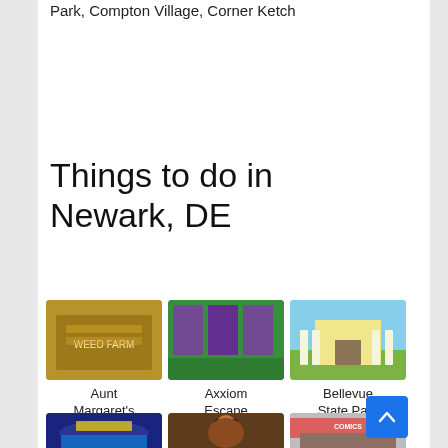Park, Compton Village, Corner Ketch
Things to do in Newark, DE
[Figure (photo): Photo of Aunt Margaret's Antique Mall - a wooden sign or books]
Aunt Margaret's Antique Mall
[Figure (photo): Photo of Axxiom Escape Rooms Newark - green-walled room with artwork]
Axxiom Escape Rooms Newark
[Figure (photo): Photo of Bellevue State Park - a large white-columned house]
Bellevue State Park
[Figure (photo): Photo of an indoor stadium/arena with blue seating]
[Figure (photo): Photo of a red panda close-up]
[Figure (photo): Photo of a comics store exterior with crowd]